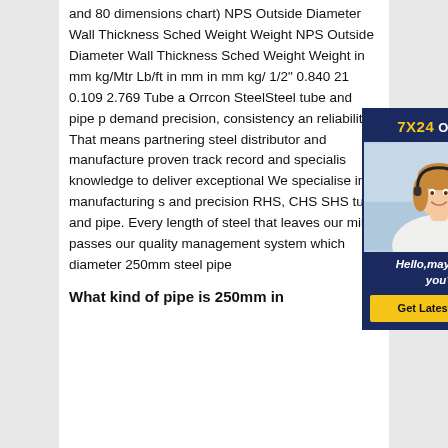and 80 dimensions chart) NPS Outside Diameter Wall Thickness Sched Weight Weight NPS Outside Diameter Wall Thickness Sched Weight Weight in mm kg/Mtr Lb/ft in mm in mm kg/ 1/2" 0.840 21 0.109 2.769 Tube a Orrcon SteelSteel tube and pipe p demand precision, consistency an reliability. That means partnering steel distributor and manufacture proven track record and specialis knowledge to deliver exceptional We specialise in manufacturing s and precision RHS, CHS SHS tube and pipe. Every length of steel that leaves our mills passes our quality management system which diameter 250mm steel pipe
[Figure (illustration): Chat support advertisement overlay: dark navy box with '7X24 Online' header in gold/white, photo of smiling woman with headset, italic text 'Hello, may I help you?', and yellow 'Get Latest Price' button.]
What kind of pipe is 250mm in